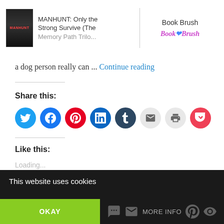MANHUNT: Only the Strong Survive (The Memory Path Trilogy... | Book Brush
a dog person really can ... Continue reading
Share this:
[Figure (infographic): Row of social media sharing icons: Twitter (blue), Facebook (blue), Pinterest (red), LinkedIn (dark blue), Tumblr (navy), Email (light gray), Print (light gray), Pocket (red)]
Like this:
Loading...
This website uses cookies
OKAY | MORE INFO